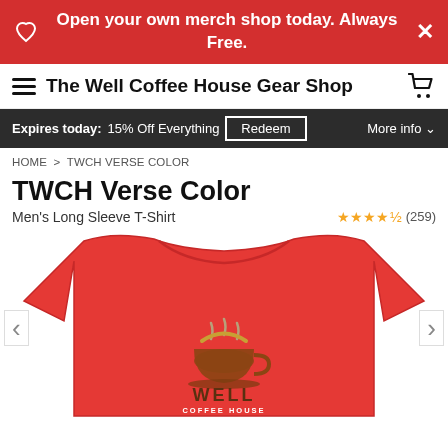Open your own merch shop today. Always Free.
The Well Coffee House Gear Shop
Expires today: 15% Off Everything  Redeem  More info
HOME > TWCH VERSE COLOR
TWCH Verse Color
Men's Long Sleeve T-Shirt  ★★★★½ (259)
[Figure (photo): Red long sleeve t-shirt with The Well Coffee House logo on the chest, shown on a white background. Navigation arrows on left and right sides.]